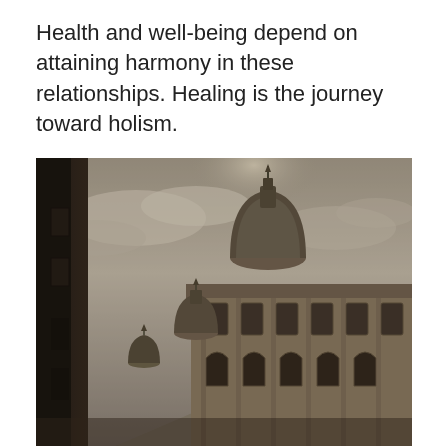Health and well-being depend on attaining harmony in these relationships. Healing is the journey toward holism.
[Figure (photo): Low-angle black-and-white toned photograph of a grand classical European building with a dome and ornate facade, taken from street level looking upward against a dramatic cloudy sky.]